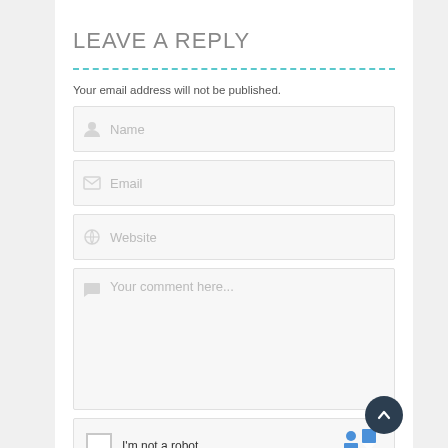LEAVE A REPLY
Your email address will not be published.
[Figure (screenshot): Web form with fields for Name, Email, Website, comment area, and reCAPTCHA checkbox]
[Figure (other): Scroll-to-top circular button with upward chevron]